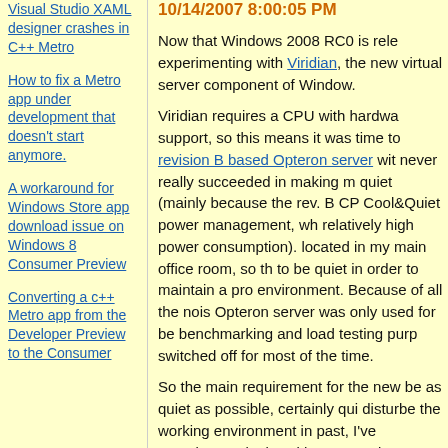Visual Studio XAML designer crashes in C++ Metro
How to fix a Metro app under development that doesn't start anymore.
A workaround for Windows Store app download issue on Windows 8 Consumer Preview
Converting a c++ Metro app from the Developer Preview to the Consumer
10/14/2007 8:00:05 PM
Now that Windows 2008 RC0 is rele experimenting with Viridian, the new virtual server component of Window.
Viridian requires a CPU with hardwa support, so this means it was time to revision B based Opteron server with never really succeeded in making m quiet (mainly because the rev. B CP Cool&Quiet power management, wh relatively high power consumption). located in my main office room, so th to be quiet in order to maintain a pro environment. Because of all the nois Opteron server was only used for be benchmarking and load testing purp switched off for most of the time.
So the main requirement for the new be as quiet as possible, certainly qui disturbe the working environment in past, I've experimented a lot with ma as quiet as possible, and learned the as well as it is possible to achieve DC